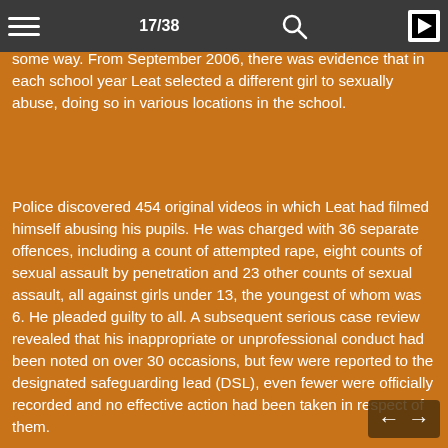17/38
For 15 years from 1995 to 2010, teacher Nigel Leat had his “favourites” – young girls many of whom were vulnerable in some way. From September 2006, there was evidence that in each school year Leat selected a different girl to sexually abuse, doing so in various locations in the school.
Police discovered 454 original videos in which Leat had filmed himself abusing his pupils. He was charged with 36 separate offences, including a count of attempted rape, eight counts of sexual assault by penetration and 23 other counts of sexual assault, all against girls under 13, the youngest of whom was 6. He pleaded guilty to all. A subsequent serious case review revealed that his inappropriate or unprofessional conduct had been noted on over 30 occasions, but few were reported to the designated safeguarding lead (DSL), even fewer were officially recorded and no effective action had been taken in respect of them.